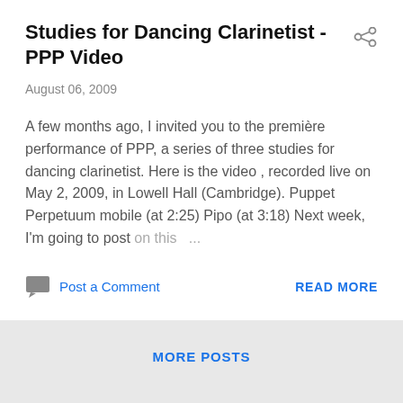Studies for Dancing Clarinetist - PPP Video
August 06, 2009
A few months ago, I invited you to the première performance of PPP, a series of three studies for dancing clarinetist. Here is the video , recorded live on May 2, 2009, in Lowell Hall (Cambridge). Puppet Perpetuum mobile (at 2:25) Pipo (at 3:18) Next week, I'm going to post on this …
Post a Comment
READ MORE
MORE POSTS
Powered by Blogger